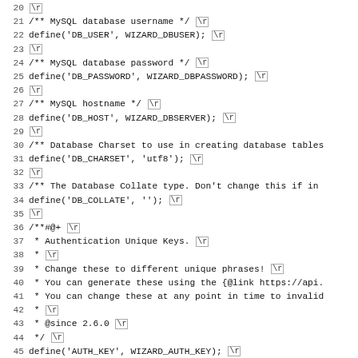Code listing lines 20-51 showing PHP WordPress configuration defines for DB_USER, DB_PASSWORD, DB_HOST, DB_CHARSET, DB_COLLATE, and authentication unique keys (AUTH_KEY, SECURE_AUTH_KEY, LOGGED_IN_KEY, NONCE_KEY).